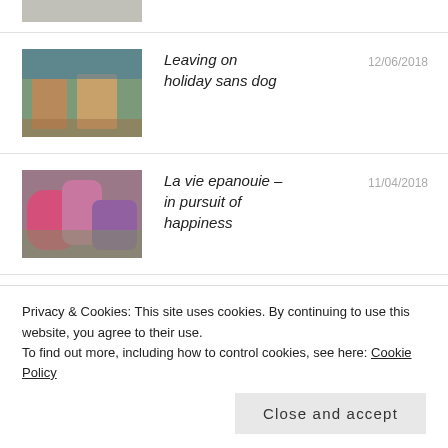[Figure (photo): Partial thumbnail image at the top of the page, cropped]
[Figure (photo): Thumbnail photo of dogs on a leash]
Leaving on holiday sans dog
12/06/2018
[Figure (photo): Thumbnail photo of flowers/floral arrangement]
La vie epanouie – in pursuit of happiness
11/04/2018
[Figure (photo): Partial thumbnail photo, brownish-red tones]
What I would
01/02/2018
Privacy & Cookies: This site uses cookies. By continuing to use this website, you agree to their use.
To find out more, including how to control cookies, see here: Cookie Policy
Close and accept